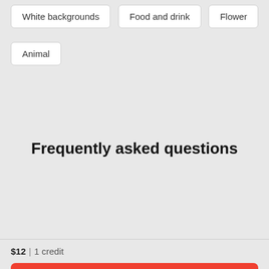White backgrounds
Food and drink
Flower
Animal
Frequently asked questions
[Figure (screenshot): Unsplash promotional banner on iStock website reading: Welcome to iStock: Save 20% with code UNSPLASH20, with close button]
$12 | 1 credit
Continue with purchase